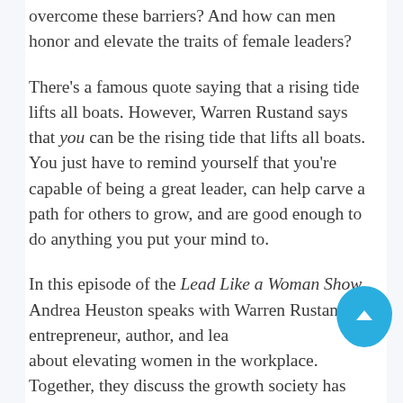overcome these barriers? And how can men honor and elevate the traits of female leaders?
There's a famous quote saying that a rising tide lifts all boats. However, Warren Rustand says that you can be the rising tide that lifts all boats. You just have to remind yourself that you're capable of being a great leader, can help carve a path for others to grow, and are good enough to do anything you put your mind to.
In this episode of the Lead Like a Woman Show, Andrea Heuston speaks with Warren Rustand, entrepreneur, author, and lea[der] about elevating women in the workplace. Together, they discuss the growth society has